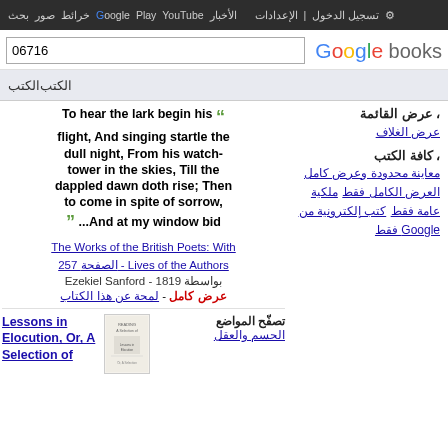بحث صور خرائط Google Play YouTube الأخبار تسجيل الدخول الإعدادات ⚙
06716
[Figure (logo): Google books logo]
الكتب الكتب
To hear the lark begin his ❝ flight, And singing startle the dull night, From his watch-tower in the skies, Till the dappled dawn doth rise; Then to come in spite of sorrow, ❞ ...And at my window bid
The Works of the British Poets: With Lives of the Authors - الصفحة 257
بواسطة Ezekiel Sanford - 1819
عرض كامل - لمحة عن هذا الكتاب
، عرض القائمة
عرض الغلاف
، كافة الكتب
معاينة محدودة وعرض كامل
العرض الكامل فقط
ملكية عامة فقط
كتب إلكترونية من Google فقط
Lessons in Elocution, Or, A Selection of
تصفّح المواضع الجسم والعقل